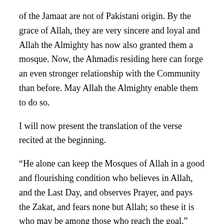of the Jamaat are not of Pakistani origin. By the grace of Allah, they are very sincere and loyal and Allah the Almighty has now also granted them a mosque. Now, the Ahmadis residing here can forge an even stronger relationship with the Community than before. May Allah the Almighty enable them to do so.
I will now present the translation of the verse recited at the beginning.
“He alone can keep the Mosques of Allah in a good and flourishing condition who believes in Allah, and the Last Day, and observes Prayer, and pays the Zakat, and fears none but Allah; so these it is who may be among those who reach the goal.” [Surah al-Taubah, Ch.9: V.18]
Allah the Almighty has mentioned the characteristic of those who build mosques and populate them which are that they believe in